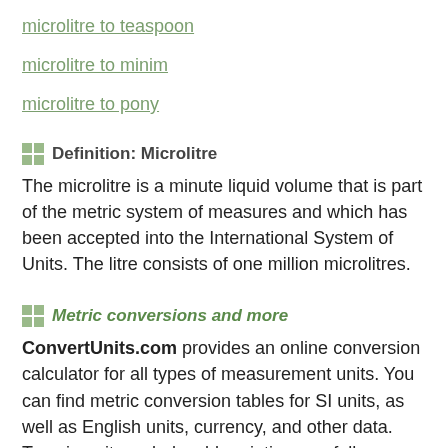microlitre to teaspoon
microlitre to minim
microlitre to pony
Definition: Microlitre
The microlitre is a minute liquid volume that is part of the metric system of measures and which has been accepted into the International System of Units. The litre consists of one million microlitres.
Metric conversions and more
ConvertUnits.com provides an online conversion calculator for all types of measurement units. You can find metric conversion tables for SI units, as well as English units, currency, and other data. Type in unit symbols, abbreviations, or full names for units of length, area, mass, pressure, and other types. Examples include mm, inch, 100 kg, US fluid ounce, 6'3", 10 stone 4, cubic cm, metres